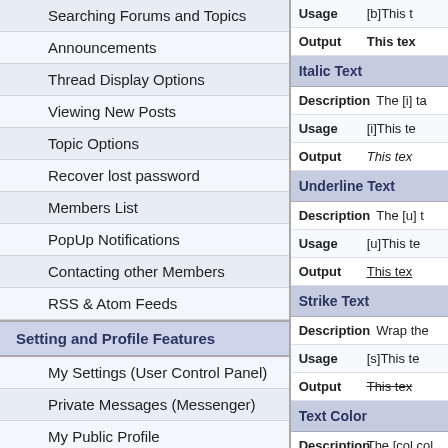Searching Forums and Topics
Announcements
Thread Display Options
Viewing New Posts
Topic Options
Recover lost password
Members List
PopUp Notifications
Contacting other Members
RSS & Atom Feeds
Setting and Profile Features
My Settings (User Control Panel)
Private Messages (Messenger)
My Public Profile
Editing User Profile & Forum Settings
Thanks Feature
Friends
Albums
Italic Text
Description: The [i] ta
Usage: [i]This te
Output: This text (italic)
Underline Text
Description: The [u] t
Usage: [u]This te
Output: This text (underline)
Strike Text
Description: Wrap the
Usage: [s]This te
Output: This text (strikethrough)
Text Color
Description: The [col color you
Usage: [color=bl
Output: this text
Text Size